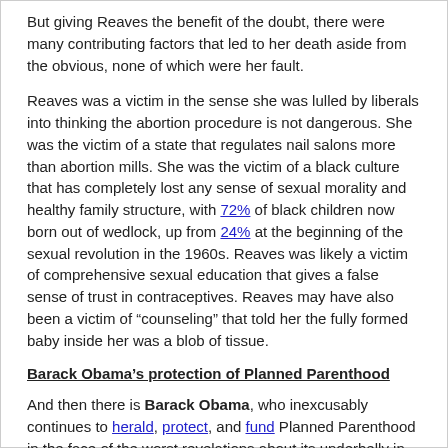But giving Reaves the benefit of the doubt, there were many contributing factors that led to her death aside from the obvious, none of which were her fault.
Reaves was a victim in the sense she was lulled by liberals into thinking the abortion procedure is not dangerous. She was the victim of a state that regulates nail salons more than abortion mills. She was the victim of a black culture that has completely lost any sense of sexual morality and healthy family structure, with 72% of black children now born out of wedlock, up from 24% at the beginning of the sexual revolution in the 1960s. Reaves was likely a victim of comprehensive sexual education that gives a false sense of trust in contraceptives. Reaves may have also been a victim of “counseling” that told her the fully formed baby inside her was a blob of tissue.
Barack Obama’s protection of Planned Parenthood
And then there is Barack Obama, who inexcusably continues to herald, protect, and fund Planned Parenthood in the face of the worst revelations about its underbelly in its 96 year history.